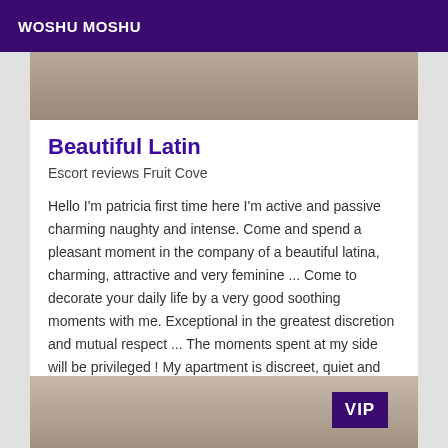WOSHU MOSHU
[Figure (photo): Partial photo at top of listing card]
Beautiful Latin
Escort reviews Fruit Cove
Hello I'm patricia first time here I'm active and passive charming naughty and intense. Come and spend a pleasant moment in the company of a beautiful latina, charming, attractive and very feminine ... Come to decorate your daily life by a very good soothing moments with me. Exceptional in the greatest discretion and mutual respect ... The moments spent at my side will be privileged ! My apartment is discreet, quiet and everything is done with hygiene. I receive you with pretty sexy outfits . . . Not messages ny number hidden
[Figure (photo): Partial photo at bottom showing building exterior with VIP badge]